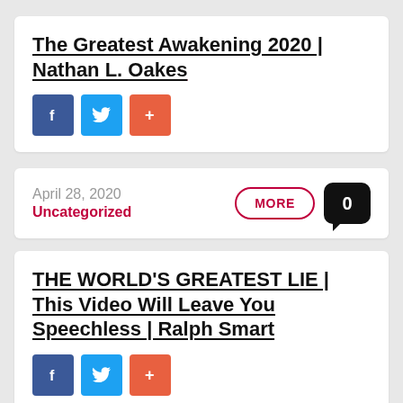The Greatest Awakening 2020 | Nathan L. Oakes
[Figure (infographic): Social share buttons: Facebook (blue), Twitter (light blue), Plus/share (orange-red)]
April 28, 2020
Uncategorized
MORE
0
THE WORLD'S GREATEST LIE | This Video Will Leave You Speechless | Ralph Smart
[Figure (infographic): Social share buttons: Facebook (blue), Twitter (light blue), Plus/share (orange-red)]